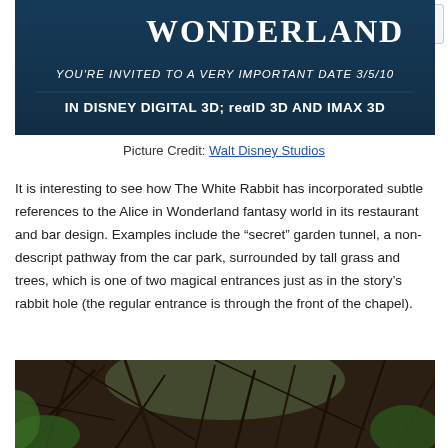[Figure (photo): Alice in Wonderland movie promotional banner: text reads 'WONDERLAND', 'YOU'RE INVITED TO A VERY IMPORTANT DATE 3/5/10', 'IN DISNEY DIGITAL 3D, RealD 3D AND IMAX 3D' on dark teal background]
Picture Credit: Walt Disney Studios
It is interesting to see how The White Rabbit has incorporated subtle references to the Alice in Wonderland fantasy world in its restaurant and bar design. Examples include the “secret” garden tunnel, a non-descript pathway from the car park, surrounded by tall grass and trees, which is one of two magical entrances just as in the story’s rabbit hole (the regular entrance is through the front of the chapel).
[Figure (photo): Outdoor garden path or tunnel with tangled branches, vines, tall grass and trees — the 'secret' garden entrance at The White Rabbit restaurant]